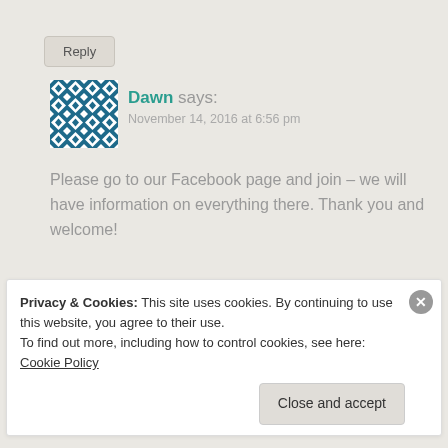Reply
[Figure (illustration): Blue and white diamond/checkerboard pattern avatar image]
Dawn says:
November 14, 2016 at 6:56 pm
Please go to our Facebook page and join – we will have information on everything there. Thank you and welcome!
Like
Privacy & Cookies: This site uses cookies. By continuing to use this website, you agree to their use.
To find out more, including how to control cookies, see here: Cookie Policy
Close and accept